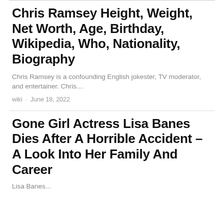Chris Ramsey Height, Weight, Net Worth, Age, Birthday, Wikipedia, Who, Nationality, Biography
Chris Ramsey is a confounding English jokester, TV moderator, and entertainer. Chris…
wiki · June 18, 2022
Gone Girl Actress Lisa Banes Dies After A Horrible Accident – A Look Into Her Family And Career
Lisa Banes...